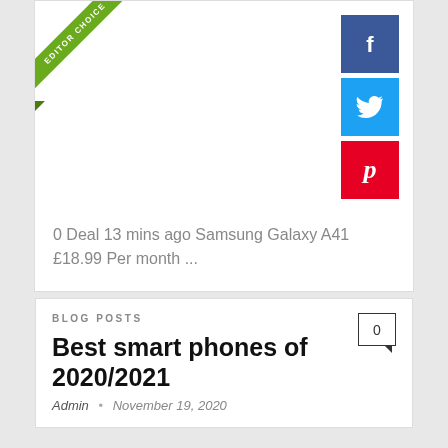[Figure (other): Editor Choice ribbon (green diagonal banner) in top-left corner of card]
[Figure (other): Three social media icon buttons stacked vertically on right: Facebook (blue), Twitter (light blue), Pinterest (red)]
0 Deal 13 mins ago Samsung Galaxy A41 £18.99 Per month ...
BLOG POSTS
0 (comment count badge)
Best smart phones of 2020/2021
Admin · November 19, 2020